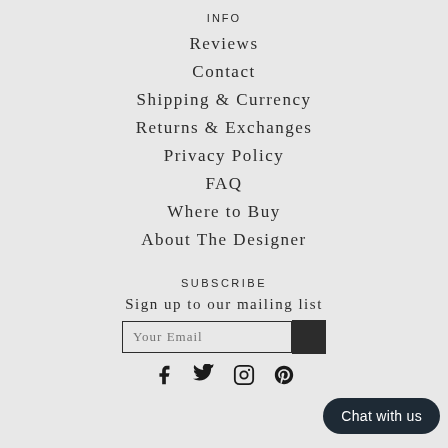INFO
Reviews
Contact
Shipping & Currency
Returns & Exchanges
Privacy Policy
FAQ
Where to Buy
About The Designer
SUBSCRIBE
Sign up to our mailing list
Chat with us